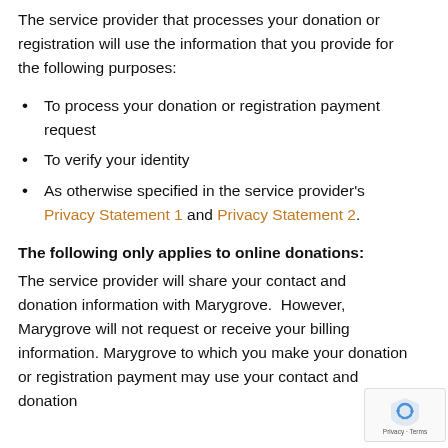The service provider that processes your donation or registration will use the information that you provide for the following purposes:
To process your donation or registration payment request
To verify your identity
As otherwise specified in the service provider's Privacy Statement 1 and Privacy Statement 2.
The following only applies to online donations:
The service provider will share your contact and donation information with Marygrove.  However, Marygrove will not request or receive your billing information. Marygrove to which you make your donation or registration payment may use your contact and donation
[Figure (logo): reCAPTCHA badge with shield icon and Privacy - Terms text]